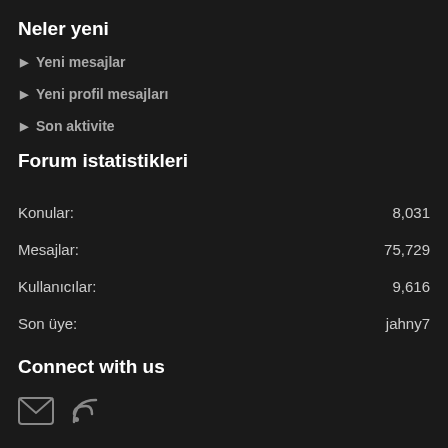Neler yeni
Yeni mesajlar
Yeni profil mesajları
Son aktivite
Forum istatistikleri
Konular: 8,031
Mesajlar: 75,729
Kullanıcılar: 9,616
Son üye: jahny7
Connect with us
[Figure (illustration): Email icon and RSS feed icon]